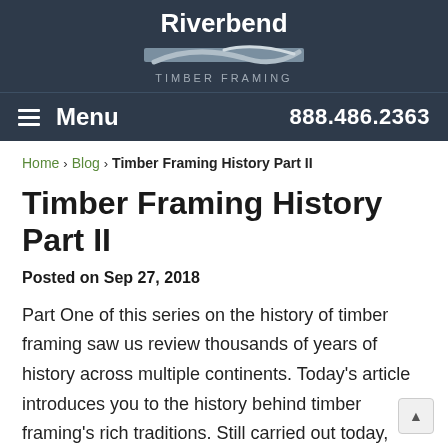[Figure (logo): Riverbend Timber Framing logo with swoosh graphic and text]
≡ Menu   888.486.2363
Home > Blog > Timber Framing History Part II
Timber Framing History Part II
Posted on Sep 27, 2018
Part One of this series on the history of timber framing saw us review thousands of years of history across multiple continents. Today's article introduces you to the history behind timber framing's rich traditions. Still carried out today, these traditions range from